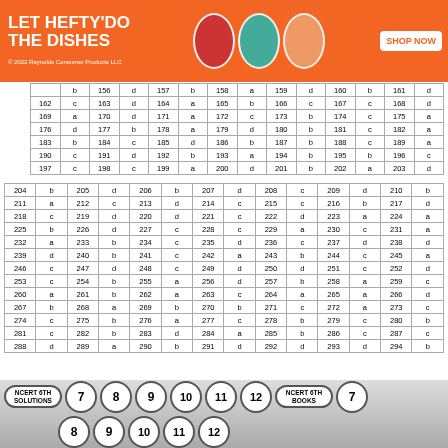[Figure (other): Hefty dish soap advertisement banner]
|  | b | 156 | d | 157 | b | 158 | a | 159 | d | 160 | b | 161 | d |
| --- | --- | --- | --- | --- | --- | --- | --- | --- | --- | --- | --- | --- | --- |
| 162 | c | 163 | d | 164 | a | 165 | b | 166 | c | 167 | c | 168 | d |
| 169 | a | 170 | d | 171 | a | 172 | c | 173 | b | 174 | c | 175 | a |
| 176 | d | 177 | b | 178 | a | 179 | d | 180 | b | 181 | c | 182 | a |
| 183 | b | 184 | c | 185 | d | 186 | b | 187 | b | 188 | c | 189 | a |
| 190 | c | 191 | d | 192 | b | 193 | a | 194 | b | 195 | b | 196 | c |
| 197 | c | 198 | c | 199 | a | 200 | d | 201 | b | 202 | a | 203 | d |
| 204 | b | 205 | d | 206 | b | 207 | d | 208 | c | 209 | d | 210 | b |
| --- | --- | --- | --- | --- | --- | --- | --- | --- | --- | --- | --- | --- | --- |
| 211 | a | 212 | c | 213 | d | 214 | c | 215 | c | 216 | b | 217 | d |
| 218 | c | 219 | d | 220 | d | 221 | c | 222 | d | 223 | a | 224 | a |
| 225 | b | 226 | d | 227 | c | 228 | c | 229 | a | 230 | c | 231 | a |
| 232 | a | 233 | b | 234 | c | 235 | d | 236 | c | 237 | d | 238 | d |
| 239 | d | 240 | b | 241 | c | 242 | a | 243 | b | 244 | c | 245 | a |
| 246 | c | 247 | d | 248 | c | 249 | d | 250 | d | 251 | c | 252 | d |
| 253 | c | 254 | b | 255 | a | 256 | d | 257 | b | 258 | a | 259 | c |
| 260 | a | 261 | b | 262 | a | 263 | c | 264 | a | 265 | a | 266 | d |
| 267 | b | 268 | a | 269 | b | 270 | b | 271 | c | 272 | a | 273 | c |
| 274 | c | 275 | b | 276 | a | 277 | c | 278 | b | 279 | c | 280 | b |
| 281 | c | 282 | b | 283 | d | 284 | a | 285 | b | 286 | c | 287 | c |
| 288 | d | 289 | a | 290 | b | 291 | d | 292 | d | 293 | d | 294 | b |
[Figure (other): Navigation buttons: NCERT 6TH SOLUTIONS, 7, 8, 9, 10, 11, 12, NCERT 6TH BOOKS, 7, 8, 9, 10, 11, 12]